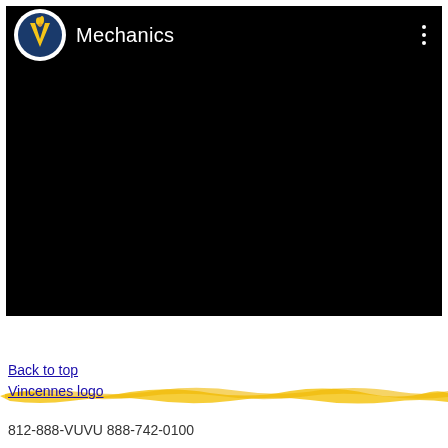[Figure (screenshot): YouTube-style video player with black video area. Header shows Vincennes University 'V' flame logo in white circle, channel name 'Mechanics' in white text, and three-dot menu icon in top right corner.]
[Figure (illustration): Yellow brushstroke/highlighter band spanning the full width of the page, overlaying footer links area.]
Back to top
Vincennes logo
812-888-VUVU 888-742-0100